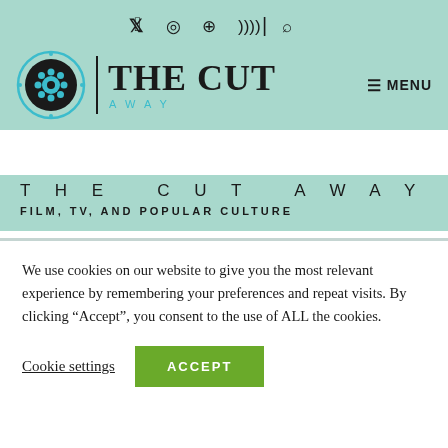Social icons: Twitter, Instagram, Pinterest, RSS | Search
[Figure (logo): The Cutaway logo with circular film reel icon in black and teal, vertical bar separator, and 'THE CUT' in large serif text with 'AWAY' in teal spaced sans-serif below]
THE CUT AWAY
FILM, TV, AND POPULAR CULTURE
We use cookies on our website to give you the most relevant experience by remembering your preferences and repeat visits. By clicking “Accept”, you consent to the use of ALL the cookies.
Cookie settings  ACCEPT